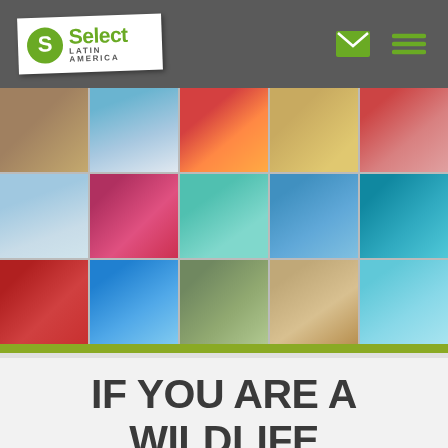Select Latin America — navigation header with logo, email icon, and menu icon
[Figure (photo): Collage of 15 travel photos arranged in a 5×3 grid showing Latin American destinations including Mayan ruins, mountains, carnival, volcanos, ocean, wildlife, and beaches]
IF YOU ARE A WILDLIFE LOVER YOU SHOULDN'T MISS OUT ON THESE